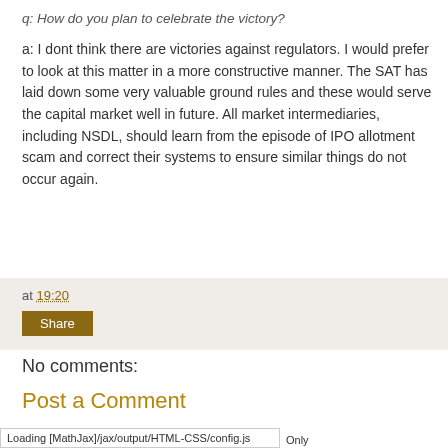q: How do you plan to celebrate the victory?
a: I dont think there are victories against regulators. I would prefer to look at this matter in a more constructive manner. The SAT has laid down some very valuable ground rules and these would serve the capital market well in future. All market intermediaries, including NSDL, should learn from the episode of IPO allotment scam and correct their systems to ensure similar things do not occur again.
at 19:20
Share
No comments:
Post a Comment
Loading [MathJax]/jax/output/HTML-CSS/config.js Only